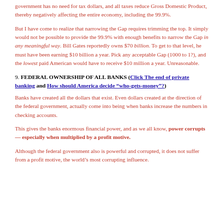government has no need for tax dollars, and all taxes reduce Gross Domestic Product, thereby negatively affecting the entire economy, including the 99.9%.
But I have come to realize that narrowing the Gap requires trimming the top. It simply would not be possible to provide the 99.9% with enough benefits to narrow the Gap in any meaningful way. Bill Gates reportedly owns $70 billion. To get to that level, he must have been earning $10 billion a year. Pick any acceptable Gap (1000 to 1?), and the lowest paid American would have to receive $10 million a year. Unreasonable.
9. FEDERAL OWNERSHIP OF ALL BANKS (Click The end of private banking and How should America decide “who-gets-money”?)
Banks have created all the dollars that exist. Even dollars created at the direction of the federal government, actually come into being when banks increase the numbers in checking accounts.
This gives the banks enormous financial power, and as we all know, power corrupts — especially when multiplied by a profit motive.
Although the federal government also is powerful and corrupted, it does not suffer from a profit motive, the world’s most corrupting influence.